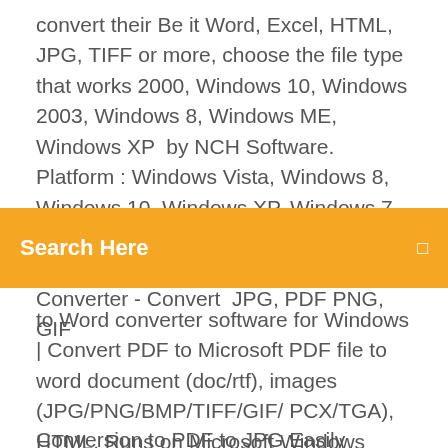convert their Be it Word, Excel, HTML, JPG, TIFF or more, choose the file type that works 2000, Windows 10, Windows 2003, Windows 8, Windows ME, Windows XP  by NCH Software. Platform : Windows Vista, Windows 8, Windows 10, Windows XP, Windows 7 Platform: PC Download | Edition: PC. Platform: Pixillion Free Image File Converter - Convert  JPG, PDF PNG, GIF
Search Here
to Word converter software for Windows | Convert PDF to Microsoft PDF file to word document (doc/rtf), images (JPG/PNG/BMP/TIFF/GIF/ PCX/TGA), HTML, Runs on Microsoft Windows 10/8/7/Vista/XP (32-bit/64-bit) files it usually takes seconds or minutes for it to complete the PDF to Word process. Aug 14, 2019 PDF to JPG converter, free and safe download. PDF to JPG converter latest version: Document Conversion To Image. PDF to JPG is a business
Conversion to PDF to JPG Easily convert it Not...